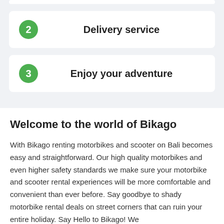2 Delivery service
3 Enjoy your adventure
Welcome to the world of Bikago
With Bikago renting motorbikes and scooter on Bali becomes easy and straightforward. Our high quality motorbikes and even higher safety standards we make sure your motorbike and scooter rental experiences will be more comfortable and convenient than ever before. Say goodbye to shady motorbike rental deals on street corners that can ruin your entire holiday. Say Hello to Bikago! We